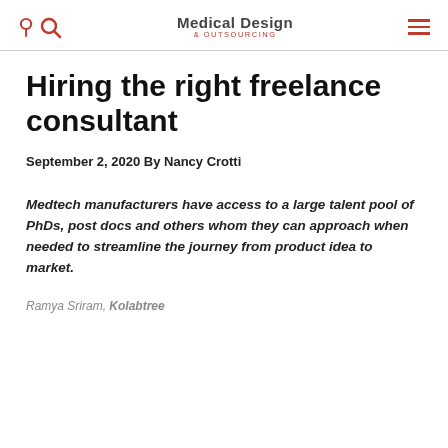Medical Design & Outsourcing
Hiring the right freelance consultant
September 2, 2020 By Nancy Crotti
Medtech manufacturers have access to a large talent pool of PhDs, post docs and others whom they can approach when needed to streamline the journey from product idea to market.
Ramya Sriram, Kolabtree